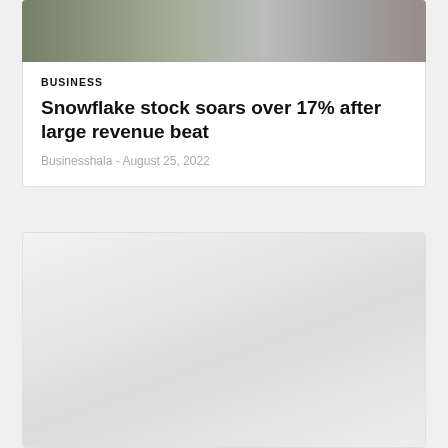[Figure (photo): Outdoor photo showing people near a building with trees, appears to be a street or plaza scene]
BUSINESS
Snowflake stock soars over 17% after large revenue beat
Businesshala  -  August 25, 2022
[Figure (photo): Second article card with a faded/placeholder image, appears to be a blurred or light-toned photograph]